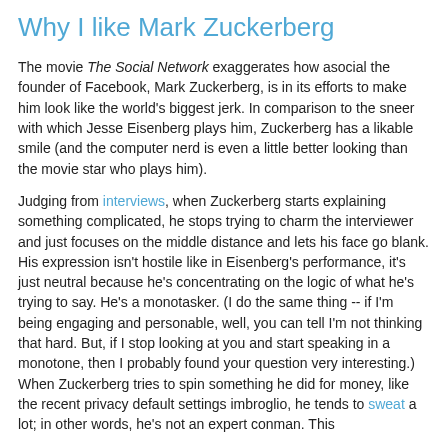Why I like Mark Zuckerberg
The movie The Social Network exaggerates how asocial the founder of Facebook, Mark Zuckerberg, is in its efforts to make him look like the world's biggest jerk. In comparison to the sneer with which Jesse Eisenberg plays him, Zuckerberg has a likable smile (and the computer nerd is even a little better looking than the movie star who plays him).
Judging from interviews, when Zuckerberg starts explaining something complicated, he stops trying to charm the interviewer and just focuses on the middle distance and lets his face go blank. His expression isn't hostile like in Eisenberg's performance, it's just neutral because he's concentrating on the logic of what he's trying to say. He's a monotasker. (I do the same thing -- if I'm being engaging and personable, well, you can tell I'm not thinking that hard. But, if I stop looking at you and start speaking in a monotone, then I probably found your question very interesting.) When Zuckerberg tries to spin something he did for money, like the recent privacy default settings imbroglio, he tends to sweat a lot; in other words, he's not an expert conman. This